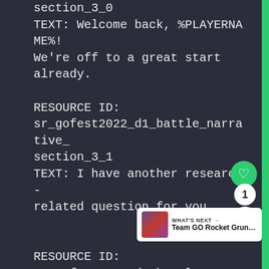section_3_0
TEXT: Welcome back, %PLAYERNAME%! We're off to a great start already.

RESOURCE ID:
sr_gofest2022_d1_battle_narrative_section_3_1
TEXT: I have another research-related question for you.

RESOURCE ID:
sr_gofest2022_d1_battle_nar...
section_3_2
TEXT: How intensely do you think